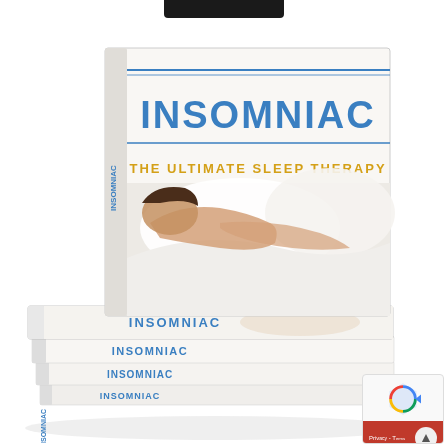[Figure (illustration): A stack of physical books titled 'INSOMNIAC - THE ULTIMATE SLEEP THERAPY'. The front upright book shows a woman sleeping in white bedding on the cover, with 'INSOMNIAC' in large blue letters and 'THE ULTIMATE SLEEP THERAPY' in yellow/gold letters below. Several copies of the same book are stacked flat beneath the upright copy, showing 'INSOMNIAC' text on their spines.]